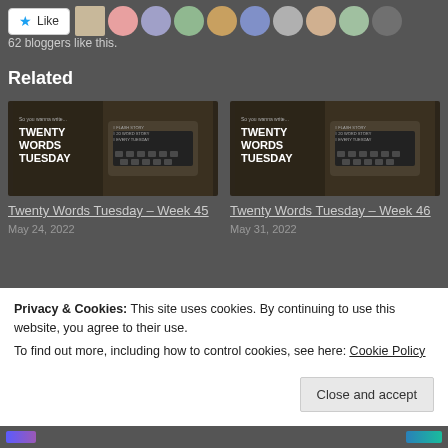[Figure (screenshot): Like button with star icon and avatar strip of bloggers]
62 bloggers like this.
Related
[Figure (photo): Twenty Words Tuesday typewriter image for Week 45]
Twenty Words Tuesday – Week 45
May 24, 2022
[Figure (photo): Twenty Words Tuesday typewriter image for Week 46]
Twenty Words Tuesday – Week 46
May 31, 2022
Privacy & Cookies: This site uses cookies. By continuing to use this website, you agree to their use.
To find out more, including how to control cookies, see here: Cookie Policy